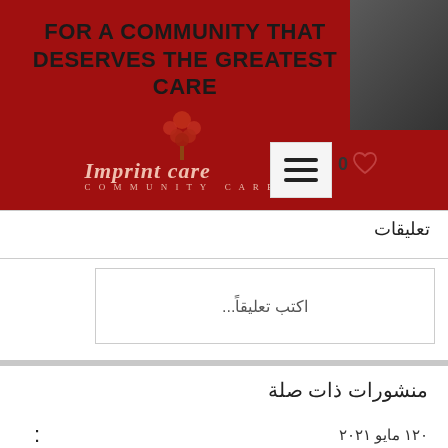[Figure (screenshot): Imprint Care Community Care website header with dark red background showing the text FOR A COMMUNITY THAT DESERVES THE GREATEST CARE, and the Imprint Care logo with a tree icon. A hamburger menu button and heart/like icon with 0 count are also visible. A blurred person photo appears in top right.]
تعليقات
اكتب تعليقاً...
منشورات ذات صلة
١٢٠ مايو ٢٠٢١ :